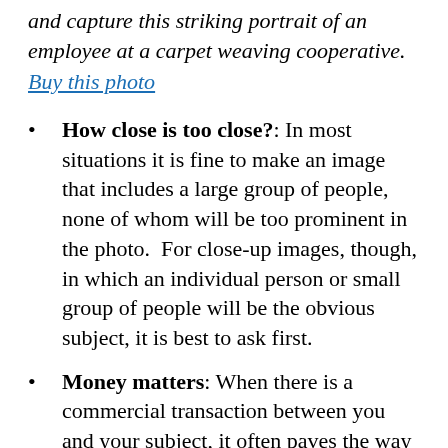and capture this striking portrait of an employee at a carpet weaving cooperative.  Buy this photo
How close is too close?: In most situations it is fine to make an image that includes a large group of people, none of whom will be too prominent in the photo.  For close-up images, though, in which an individual person or small group of people will be the obvious subject, it is best to ask first.
Money matters: When there is a commercial transaction between you and your subject, it often paves the way to ask to make their portrait.  I've had good experiences photographing local street vendors, musicians, artisans, and shopkeepers after purchasing their wares